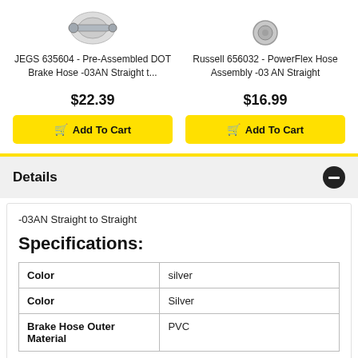[Figure (photo): Product image of JEGS 635604 Pre-Assembled DOT Brake Hose -03AN Straight fitting]
[Figure (photo): Product image of Russell 656032 PowerFlex Hose Assembly -03 AN Straight fitting]
JEGS 635604 - Pre-Assembled DOT Brake Hose -03AN Straight t...
$22.39
Add To Cart
Russell 656032 - PowerFlex Hose Assembly -03 AN Straight
$16.99
Add To Cart
Details
-03AN Straight to Straight
Specifications:
| Property | Value |
| --- | --- |
| Color | silver |
| Color | Silver |
| Brake Hose Outer Material | PVC |